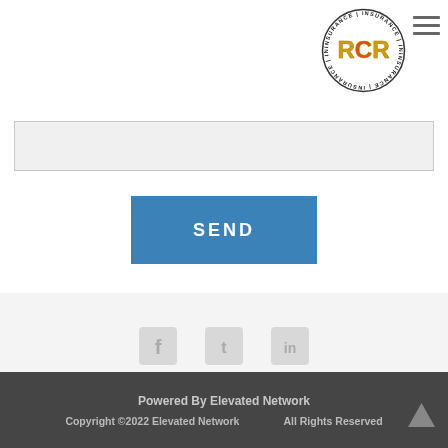[Figure (logo): RCR Insurance circular logo with 'RCR' in gold/red letters and 'INSURANCE' text around the border]
[Figure (other): Hamburger menu icon (three horizontal lines)]
[Figure (other): Gray input text field (form element)]
SEND
[Figure (other): Social media icon links row (Facebook, Twitter, and other icons shown in gray/muted style)]
Powered By Elevated Network
Copyright ©2022 Elevated Network    All Rights Reserved